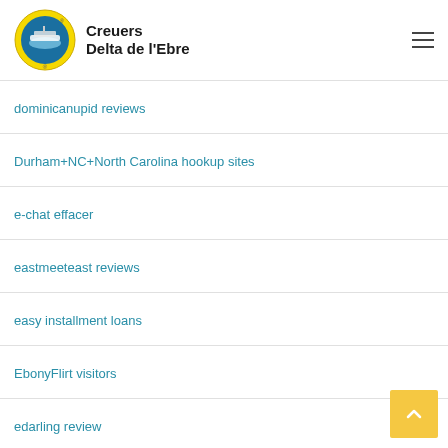Creuers Delta de l'Ebre
dominicanupid reviews
Durham+NC+North Carolina hookup sites
e-chat effacer
eastmeeteast reviews
easy installment loans
EbonyFlirt visitors
edarling review
Education